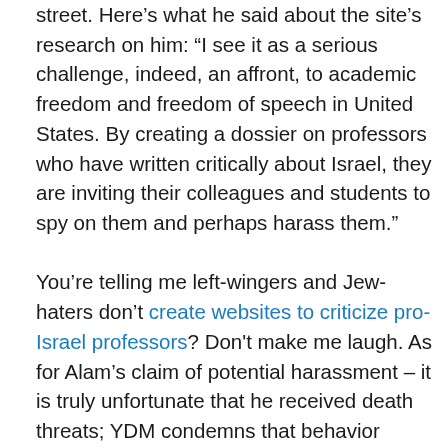street. Here's what he said about the site's research on him: "I see it as a serious challenge, indeed, an affront, to academic freedom and freedom of speech in United States. By creating a dossier on professors who have written critically about Israel, they are inviting their colleagues and students to spy on them and perhaps harass them."

You're telling me left-wingers and Jew-haters don't create websites to criticize pro-Israel professors? Don't make me laugh. As for Alam's claim of potential harassment – it is truly unfortunate that he received death threats; YDM condemns that behavior regardless who is making or receiving the threat. Making death threats is such a Muslim thing to do – I've received tons on this site alone. Threats stifle free speech, not exposing the truth about the intolerant views of certain professors. Plus, with Alam's